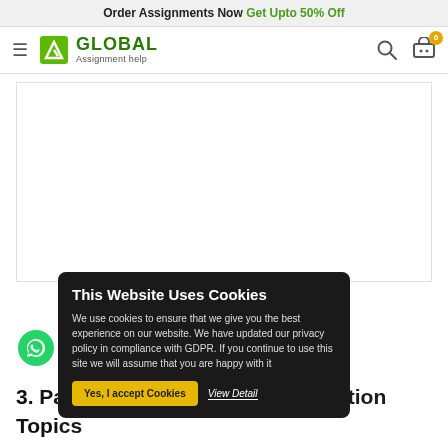Order Assignments Now Get Upto 50% Off
[Figure (logo): Global Assignment Help logo with hamburger menu, search icon, and cart icon showing 0 items]
[Figure (screenshot): Blank white content area (advertisement or image placeholder)]
This Website Uses Cookies
We use cookies to ensure that we give you the best experience on our website. We have updated our privacy policy in compliance with GDPR. If you continue to use this site we will assume that you are happy with it
Yes, I accept Cookies   View Detail
3. Pathfinding Algorithm Dissertation Topics